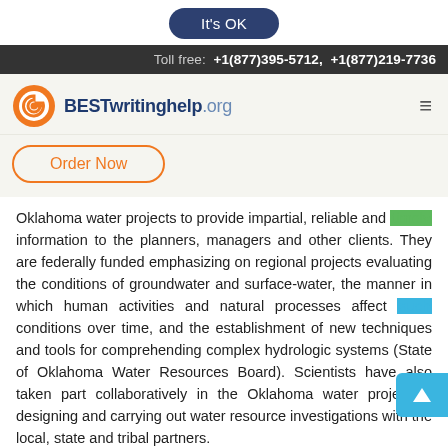It's OK
Toll free: +1(877)395-5712, +1(877)219-7736
[Figure (logo): BESTwritinghelp.org logo with orange circular icon and navigation hamburger menu, plus Order Now button]
Oklahoma water projects to provide impartial, reliable and timely information to the planners, managers and other clients. They are federally funded emphasizing on regional projects evaluating the conditions of groundwater and surface-water, the manner in which human activities and natural processes affect such conditions over time, and the establishment of new techniques and tools for comprehending complex hydrologic systems (State of Oklahoma Water Resources Board). Scientists have also taken part collaboratively in the Oklahoma water project in designing and carrying out water resource investigations with the local, state and tribal partners.